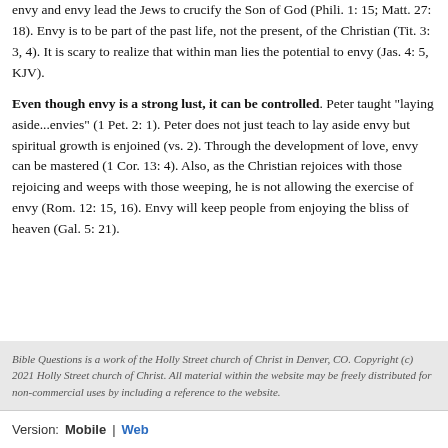envy and envy lead the Jews to crucify the Son of God (Phili. 1: 15; Matt. 27: 18). Envy is to be part of the past life, not the present, of the Christian (Tit. 3: 3, 4). It is scary to realize that within man lies the potential to envy (Jas. 4: 5, KJV).
Even though envy is a strong lust, it can be controlled. Peter taught "laying aside...envies" (1 Pet. 2: 1). Peter does not just teach to lay aside envy but spiritual growth is enjoined (vs. 2). Through the development of love, envy can be mastered (1 Cor. 13: 4). Also, as the Christian rejoices with those rejoicing and weeps with those weeping, he is not allowing the exercise of envy (Rom. 12: 15, 16). Envy will keep people from enjoying the bliss of heaven (Gal. 5: 21).
Bible Questions is a work of the Holly Street church of Christ in Denver, CO. Copyright (c) 2021 Holly Street church of Christ. All material within the website may be freely distributed for non-commercial uses by including a reference to the website.
Version:  Mobile  |  Web